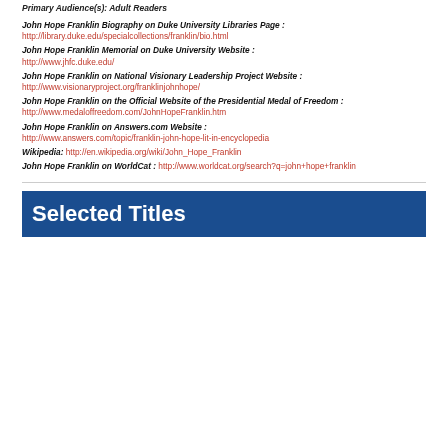Primary Audience(s): Adult Readers
John Hope Franklin Biography on Duke University Libraries Page : http://library.duke.edu/specialcollections/franklin/bio.html
John Hope Franklin Memorial on Duke University Website : http://www.jhfc.duke.edu/
John Hope Franklin on National Visionary Leadership Project Website : http://www.visionaryproject.org/franklinjohnhope/
John Hope Franklin on the Official Website of the Presidential Medal of Freedom : http://www.medaloffreedom.com/JohnHopeFranklin.htm
John Hope Franklin on Answers.com Website : http://www.answers.com/topic/franklin-john-hope-lit-in-encyclopedia
Wikipedia: http://en.wikipedia.org/wiki/John_Hope_Franklin
John Hope Franklin on WorldCat : http://www.worldcat.org/search?q=john+hope+franklin
Selected Titles